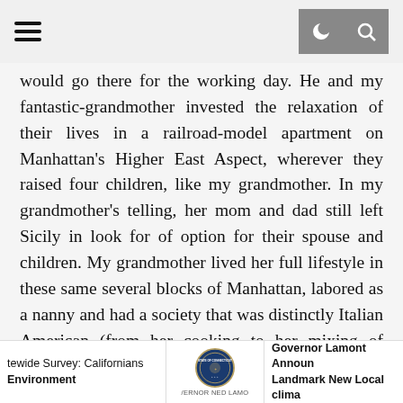[hamburger menu icon] [moon icon] [search icon]
would go there for the working day. He and my fantastic-grandmother invested the relaxation of their lives in a railroad-model apartment on Manhattan's Higher East Aspect, wherever they raised four children, like my grandmother. In my grandmother's telling, her mom and dad still left Sicily in look for of option for their spouse and children. My grandmother lived her full lifestyle in these same several blocks of Manhattan, labored as a nanny and had a society that was distinctly Italian American (from her cooking to her mixing of languages) and distinctly New York (her adore of the Yankees and H&H bagels). My parents taught elementary school in Upstate New York.

And a century right after my spouse and children moved to this nation, I moved to Boston and became a professor. I nevertheless cook my grandmother's recipes (these
tewide Survey: Californians Environment | [STATE OF CONNECTICUT GOVERNOR NED LAMO seal] | Governor Lamont Announ Landmark New Local clima